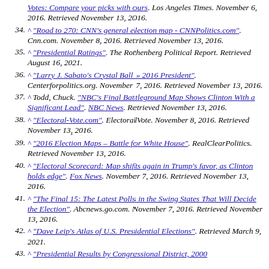^ "Votes: Compare your picks with ours". Los Angeles Times. November 6, 2016. Retrieved November 13, 2016.
34. ^ "Road to 270: CNN's general election map - CNNPolitics.com". Cnn.com. November 8, 2016. Retrieved November 13, 2016.
35. ^ "Presidential Ratings". The Rothenberg Political Report. Retrieved August 16, 2021.
36. ^ "Larry J. Sabato's Crystal Ball » 2016 President". Centerforpolitics.org. November 7, 2016. Retrieved November 13, 2016.
37. ^ Todd, Chuck. "NBC's Final Battleground Map Shows Clinton With a Significant Lead". NBC News. Retrieved November 13, 2016.
38. ^ "Electoral-Vote.com". ElectoralVote. November 8, 2016. Retrieved November 13, 2016.
39. ^ "2016 Election Maps – Battle for White House". RealClearPolitics. Retrieved November 13, 2016.
40. ^ "Electoral Scorecard: Map shifts again in Trump's favor, as Clinton holds edge". Fox News. November 7, 2016. Retrieved November 13, 2016.
41. ^ "The Final 15: The Latest Polls in the Swing States That Will Decide the Election". Abcnews.go.com. November 7, 2016. Retrieved November 13, 2016.
42. ^ "Dave Leip's Atlas of U.S. Presidential Elections". Retrieved March 9, 2021.
43. ^ "Presidential Results by Congressional District, 2000...